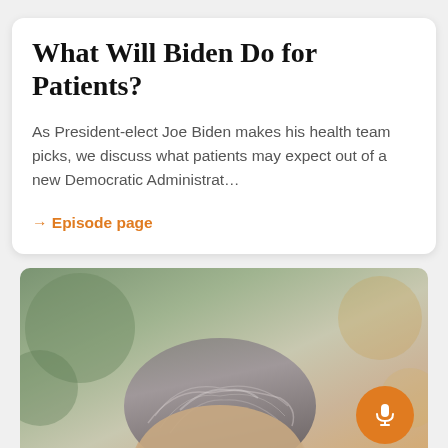What Will Biden Do for Patients?
As President-elect Joe Biden makes his health team picks, we discuss what patients may expect out of a new Democratic Administrat…
→ Episode page
[Figure (photo): Top portion of a man's head with gray-brown hair, photographed outdoors with blurred green and warm background. An orange circular podcast microphone button is overlaid at bottom right.]